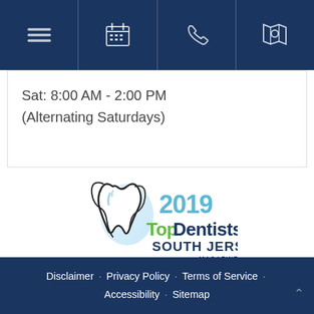Navigation bar with menu, calendar, phone, and map icons
Sat: 8:00 AM - 2:00 PM
(Alternating Saturdays)
[Figure (logo): 2019 Top Dentists South Jersey Magazine award logo with tooth graphic]
Disclaimer · Privacy Policy · Terms of Service · Accessibility · Sitemap